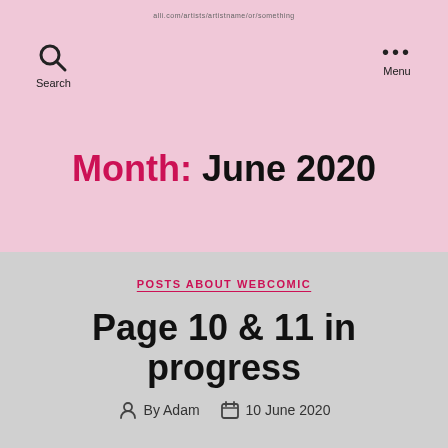Month: June 2020
Month: June 2020
POSTS ABOUT WEBCOMIC
Page 10 & 11 in progress
By Adam  10 June 2020